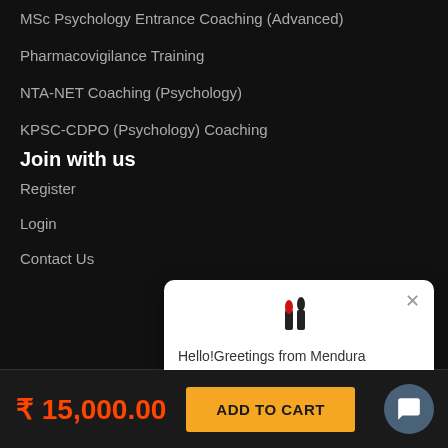MSc Psychology Entrance Coaching (Advanced)
Pharmacovigilance Training
NTA-NET Coaching (Psychology)
KPSC-CDPO (Psychology) Coaching
Join with us
Register
Login
Contact Us
[Figure (screenshot): Chat popup from Mendura Academic Innovators with logo, close button, and greeting message: 'Hello!Greetings from Mendura Academic Innovators.... Got any questions? I'm happy to help you.']
₹ 15,000.00
ADD TO CART